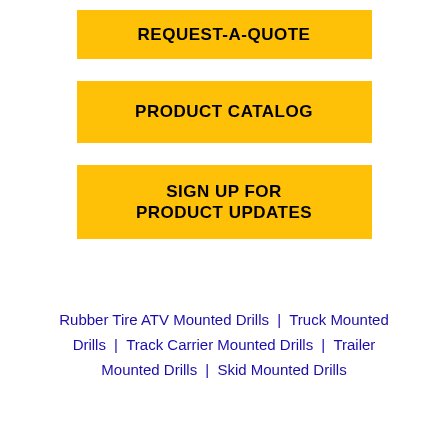[Figure (other): Yellow button labeled REQUEST-A-QUOTE]
[Figure (other): Yellow button labeled PRODUCT CATALOG]
[Figure (other): Yellow button labeled SIGN UP FOR PRODUCT UPDATES]
Rubber Tire ATV Mounted Drills  |  Truck Mounted Drills  |  Track Carrier Mounted Drills  |  Trailer Mounted Drills  |  Skid Mounted Drills